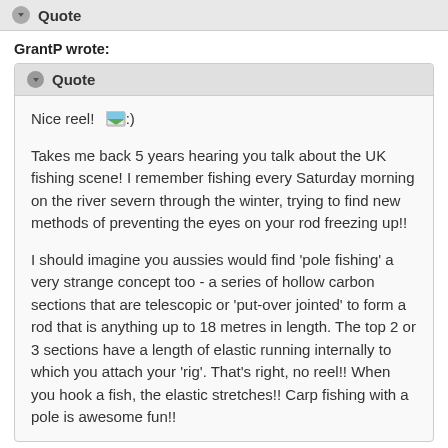Quote
GrantP wrote:
Quote
Nice reel! :)

Takes me back 5 years hearing you talk about the UK fishing scene! I remember fishing every Saturday morning on the river severn through the winter, trying to find new methods of preventing the eyes on your rod freezing up!!

I should imagine you aussies would find 'pole fishing' a very strange concept too - a series of hollow carbon sections that are telescopic or 'put-over jointed' to form a rod that is anything up to 18 metres in length. The top 2 or 3 sections have a length of elastic running internally to which you attach your 'rig'. That's right, no reel!! When you hook a fish, the elastic stretches!! Carp fishing with a pole is awesome fun!!